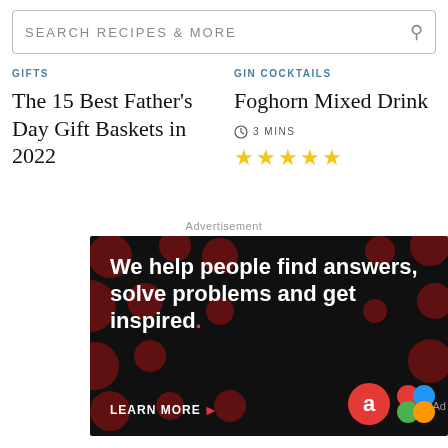SEARCH RECIPES & MORE
GIFTS
GIN COCKTAILS
The 15 Best Father's Day Gift Baskets in 2022
Foghorn Mixed Drink
3 MINS
[Figure (other): Star rating showing approximately 4.5 out of 5 stars in yellow]
Advertisement
[Figure (infographic): Advertisement banner with black background and dark red polka dots. Text reads: We help people find answers, solve problems and get inspired. LEARN MORE with arrow. Shows logos at bottom right.]
Ad